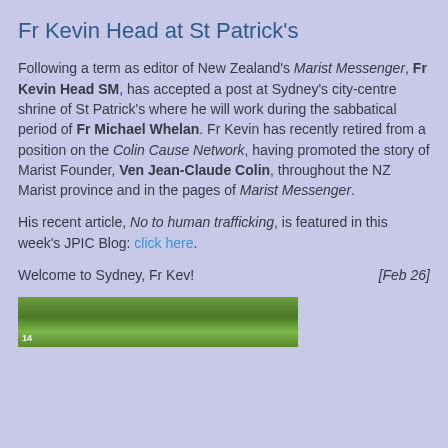Fr Kevin Head at St Patrick's
Following a term as editor of New Zealand's Marist Messenger, Fr Kevin Head SM, has accepted a post at Sydney's city-centre shrine of St Patrick's where he will work during the sabbatical period of Fr Michael Whelan. Fr Kevin has recently retired from a position on the Colin Cause Network, having promoted the story of Marist Founder, Ven Jean-Claude Colin, throughout the NZ Marist province and in the pages of Marist Messenger.
His recent article, No to human trafficking, is featured in this week's JPIC Blog: click here.
Welcome to Sydney, Fr Kev!                    [Feb 26]
[Figure (photo): A strip image showing green foliage/trees]